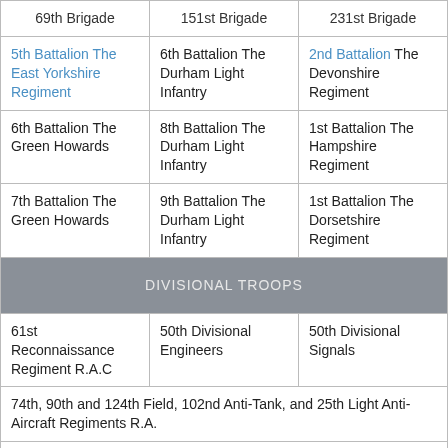| 69th Brigade | 151st Brigade | 231st Brigade |
| --- | --- | --- |
| 5th Battalion The East Yorkshire Regiment | 6th Battalion The Durham Light Infantry | 2nd Battalion The Devonshire Regiment |
| 6th Battalion The Green Howards | 8th Battalion The Durham Light Infantry | 1st Battalion The Hampshire Regiment |
| 7th Battalion The Green Howards | 9th Battalion The Durham Light Infantry | 1st Battalion The Dorsetshire Regiment |
| DIVISIONAL TROOPS |  |  |
| 61st Reconnaissance Regiment R.A.C | 50th Divisional Engineers | 50th Divisional Signals |
| 74th, 90th and 124th Field, 102nd Anti-Tank, and 25th Light Anti-Aircraft Regiments R.A. |  |  |
| 2nd Battalion The Cheshire Regiment (Machine Gun) |  |  |